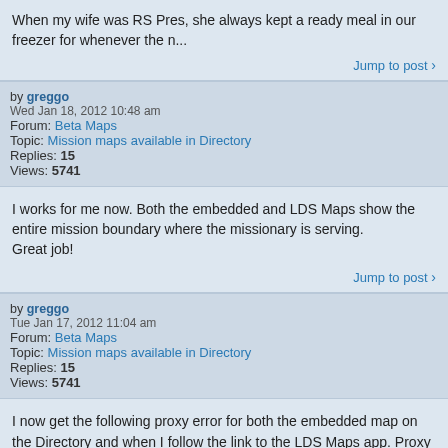When my wife was RS Pres, she always kept a ready meal in our freezer for whenever the n...
Jump to post >
by greggo
Wed Jan 18, 2012 10:48 am
Forum: Beta Maps
Topic: Mission maps available in Directory
Replies: 15
Views: 5741
I works for me now. Both the embedded and LDS Maps show the entire mission boundary where the missionary is serving.
Great job!
Jump to post >
by greggo
Tue Jan 17, 2012 11:04 am
Forum: Beta Maps
Topic: Mission maps available in Directory
Replies: 15
Views: 5741
I now get the following proxy error for both the embedded map on the Directory and when I follow the link to the LDS Maps app. Proxy Error The proxy server received an invalid response from an upstream server. The proxy server could not handle the request GET /rcmaps/embed . Reason: Error reading fr...